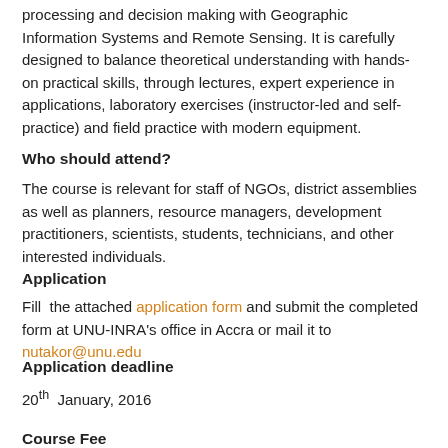processing and decision making with Geographic Information Systems and Remote Sensing. It is carefully designed to balance theoretical understanding with hands-on practical skills, through lectures, expert experience in applications, laboratory exercises (instructor-led and self-practice) and field practice with modern equipment.
Who should attend?
The course is relevant for staff of NGOs, district assemblies as well as planners, resource managers, development practitioners, scientists, students, technicians, and other interested individuals.
Application
Fill the attached application form and submit the completed form at UNU-INRA's office in Accra or mail it to nutakor@unu.edu
Application deadline
20th January, 2016
Course Fee